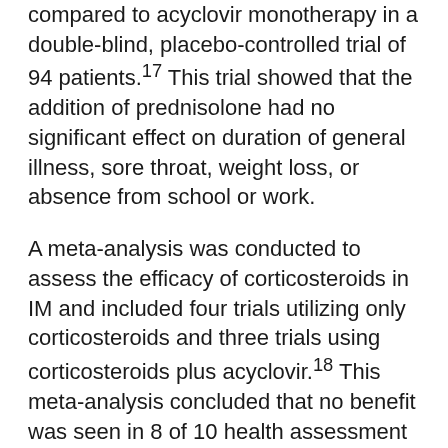compared to acyclovir monotherapy in a double-blind, placebo-controlled trial of 94 patients.17 This trial showed that the addition of prednisolone had no significant effect on duration of general illness, sore throat, weight loss, or absence from school or work.
A meta-analysis was conducted to assess the efficacy of corticosteroids in IM and included four trials utilizing only corticosteroids and three trials using corticosteroids plus acyclovir.18 This meta-analysis concluded that no benefit was seen in 8 of 10 health assessment measures. Two of the seven trials found a reduction in sore throat pain within 12 hours with corticosteroids, but this benefit was not maintained. The overall conclusion was that there was insufficient evidence to recommend corticosteroids for